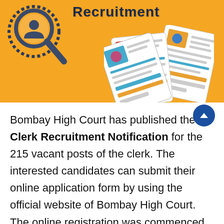[Figure (illustration): Yellow banner with a magnifying glass icon over a person silhouette on the left, bold 'Recruitment' text in dark blue at top, and illustrated ID/resume cards fanned out on the right.]
Bombay High Court has published the Clerk Recruitment Notification for the 215 vacant posts of the clerk. The interested candidates can submit their online application form by using the official website of Bombay High Court. The online registration was commenced on 23 December 2021 and the last date to submit the